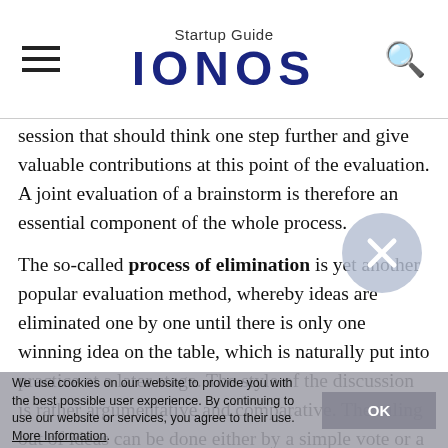Startup Guide IONOS
session that should think one step further and give valuable contributions at this point of the evaluation. A joint evaluation of a brainstorm is therefore an essential component of the whole process.
The so-called process of elimination is yet another popular evaluation method, whereby ideas are eliminated one by one until there is only one winning idea on the table, which is naturally put into practice at a later stage. The style of the discussion is rather argumentative and comparative. The ruling out of ideas can be done either by a simple vote or a show of hands. This method brings at best a playful, if not a competitive element into the discussion and generates a sound, motivating atmosphere. It is for this reason that
We use cookies on our website to provide you with the best possible user experience. By continuing to use our website or services, you agree to their use. More Information.